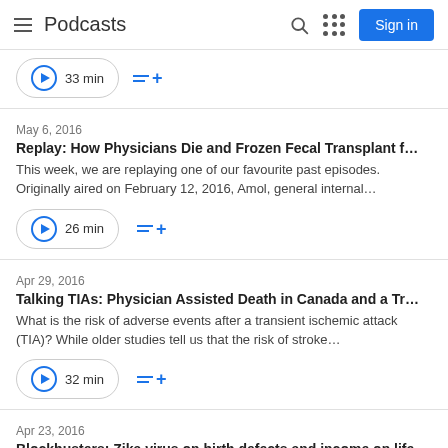Podcasts
33 min
May 6, 2016
Replay: How Physicians Die and Frozen Fecal Transplant f...
This week, we are replaying one of our favourite past episodes. Originally aired on February 12, 2016, Amol, general internal...
26 min
Apr 29, 2016
Talking TIAs: Physician Assisted Death in Canada and a Tr...
What is the risk of adverse events after a transient ischemic attack (TIA)? While older studies tell us that the risk of stroke...
32 min
Apr 23, 2016
Blockbusters: Zika virus on birth defects and income on life...